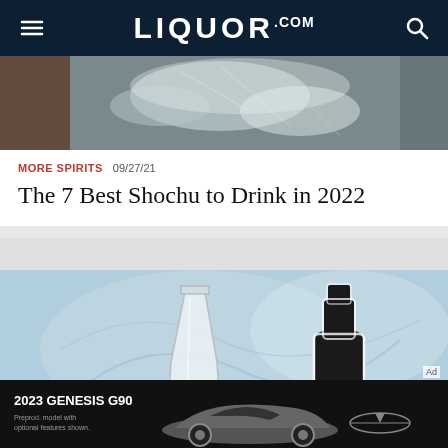LIQUOR.COM
[Figure (photo): Close-up of ice in a glass or bowl, partial view, top portion of article card]
MORE SPIRITS  09/27/21
The 7 Best Shochu to Drink in 2022
[Figure (photo): Light blue background with a glass decanter and dark wine bottle with white outline cutout styling]
Ad
[Figure (photo): Advertisement for 2023 Genesis G90 showing the car with Genesis wing logo. Text: Preprod. model with optional features shown.]